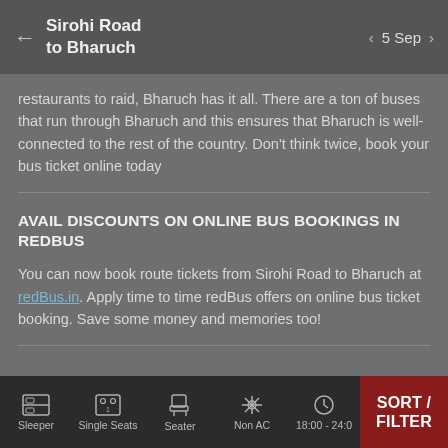Sirohi Road to Bharuch — 5 Sep
restaurants to raid, Bharuch has it all. There are a ton of buses that run through Bharuch and this ensures that Bharuch is well-connected to the rest of the country. Don't think twice, book your bus ticket online today
AVAIL DISCOUNTS ON ONLINE BUS BOOKINGS IN REDBUS
You can now book route tickets from Sirohi Road to Bharuch at redBus.in. Apply time to time redBus offers on online bus ticket booking. Save some money and memories too!
Sleeper | Single Seats | Seater | Non AC | 18:00 - 24:0 | SORT / FILTER